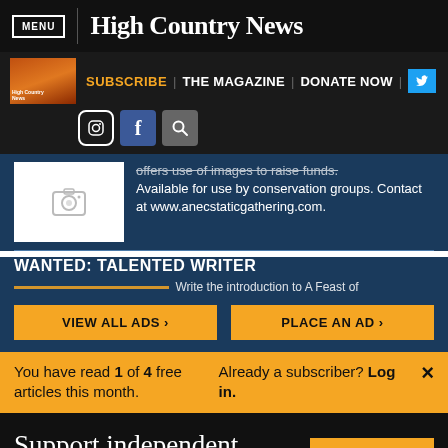MENU | High Country News
SUBSCRIBE | THE MAGAZINE | DONATE NOW
offers use of images to raise funds. Available for use by conservation groups. Contact at www.anecstaticgathering.com.
WANTED: TALENTED WRITER
Write the introduction to A Feast of
VIEW ALL ADS › | PLACE AN AD ›
You have read 1 of 4 free articles this month. Already a subscriber? Log in.
Support independent journalism.
Subscribe